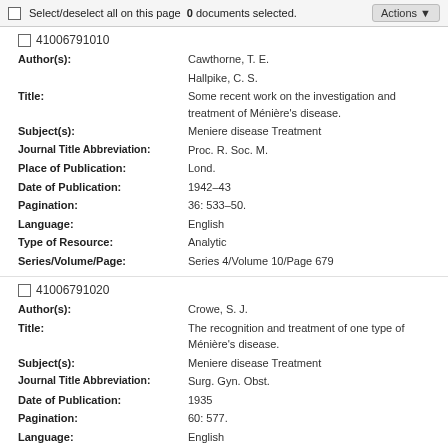Select/deselect all on this page  0 documents selected.  Actions
41006791010
Author(s): Cawthorne, T. E.
Hallpike, C. S.
Title: Some recent work on the investigation and treatment of Ménière's disease.
Subject(s): Meniere disease Treatment
Journal Title Abbreviation: Proc. R. Soc. M.
Place of Publication: Lond.
Date of Publication: 1942–43
Pagination: 36: 533–50.
Language: English
Type of Resource: Analytic
Series/Volume/Page: Series 4/Volume 10/Page 679
41006791020
Author(s): Crowe, S. J.
Title: The recognition and treatment of one type of Ménière's disease.
Subject(s): Meniere disease Treatment
Journal Title Abbreviation: Surg. Gyn. Obst.
Date of Publication: 1935
Pagination: 60: 577.
Language: English
Type of Resource: Analytic
Series/Volume/Page: Series 4/Volume 10/Page 679
41006791030
Author(s): Crowe, S. J.